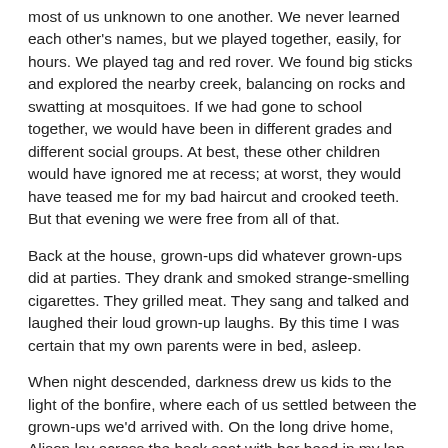most of us unknown to one another. We never learned each other's names, but we played together, easily, for hours. We played tag and red rover. We found big sticks and explored the nearby creek, balancing on rocks and swatting at mosquitoes. If we had gone to school together, we would have been in different grades and different social groups. At best, these other children would have ignored me at recess; at worst, they would have teased me for my bad haircut and crooked teeth. But that evening we were free from all of that.
Back at the house, grown-ups did whatever grown-ups did at parties. They drank and smoked strange-smelling cigarettes. They grilled meat. They sang and talked and laughed their loud grown-up laughs. By this time I was certain that my own parents were in bed, asleep.
When night descended, darkness drew us kids to the light of the bonfire, where each of us settled between the grown-ups we'd arrived with. On the long drive home, Alison lay across the back seat with her head in my lap while I tracked stars in the clear night sky.
As an adult, I'm surprised by how often I remember this party, which marked a rare moment in my childhood where time and